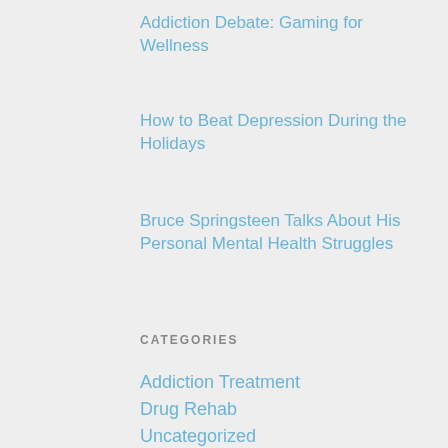Addiction Debate: Gaming for Wellness
How to Beat Depression During the Holidays
Bruce Springsteen Talks About His Personal Mental Health Struggles
CATEGORIES
Addiction Treatment
Drug Rehab
Uncategorized